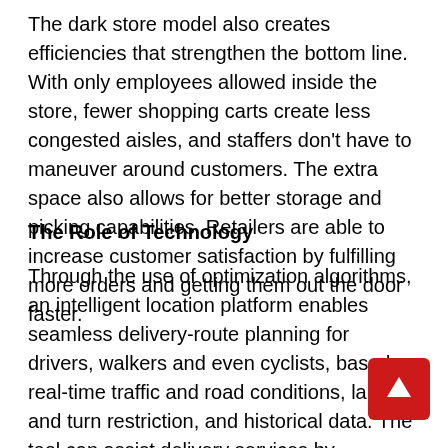The dark store model also creates efficiencies that strengthen the bottom line. With only employees allowed inside the store, fewer shopping carts create less congested aisles, and staffers don't have to maneuver around customers. The extra space also allows for better storage and picking capabilities. Retailers are able to increase customer satisfaction by fulfilling more orders and getting them out the door faster.
The Role of Technology
Through the use of optimization algorithms, an intelligent location platform enables seamless delivery-route planning for drivers, walkers and even cyclists, based on real-time traffic and road conditions, lane and turn restriction, and historical data. The tool can assist delivery services by determining the best order in which to make each delivery, while evenly distributing deliveries across a fleet of workers to make deliveries faster.